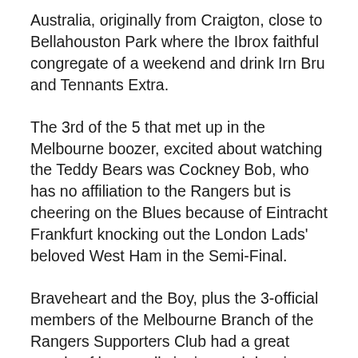Australia, originally from Craigton, close to Bellahouston Park where the Ibrox faithful congregate of a weekend and drink Irn Bru and Tennants Extra.
The 3rd of the 5 that met up in the Melbourne boozer, excited about watching the Teddy Bears was Cockney Bob, who has no affiliation to the Rangers but is cheering on the Blues because of Eintracht Frankfurt knocking out the London Lads' beloved West Ham in the Semi-Final.
Braveheart and the Boy, plus the 3-official members of the Melbourne Branch of the Rangers Supporters Club had a great couple of hours, all singing and dancing, drinking Castlemaine 4-X and attempting a knees-up